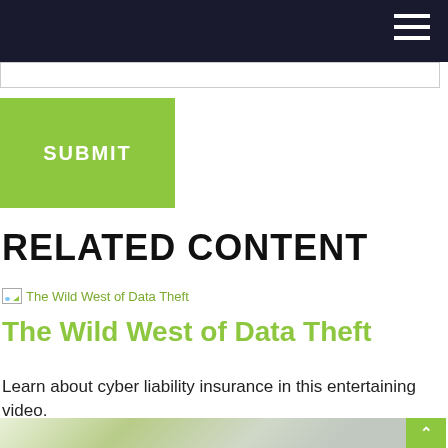SUBMIT
RELATED CONTENT
[Figure (screenshot): Thumbnail image placeholder for 'The Wild West of Data Theft' article]
The Wild West of Data Theft
Learn about cyber liability insurance in this entertaining video.
[Figure (photo): Bottom preview image with green and grey tones, partially visible]